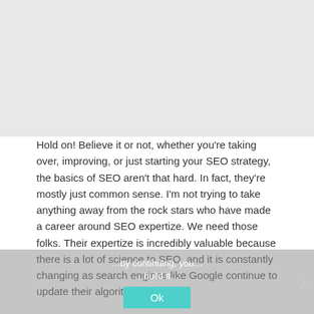[Figure (other): Gray background area at top of page, likely image placeholder]
Hold on! Believe it or not, whether you're taking over, improving, or just starting your SEO strategy, the basics of SEO aren't that hard. In fact, they're mostly just common sense. I'm not trying to take anything away from the rock stars who have made a career around SEO expertize. We need those folks. Their expertize is incredibly valuable because there is a lot of science to SEO, and it is constantly changing as search engines like Google continue to update their algorithms.
What I'm saying is that you don't have to have a master's degree in SEO to ensure your website is well positioned for organic search engine traffic. Check out these seven simple step-by-step guide to building a strong Website SEO strategy.
You can also read: What is Backlink in SEO?